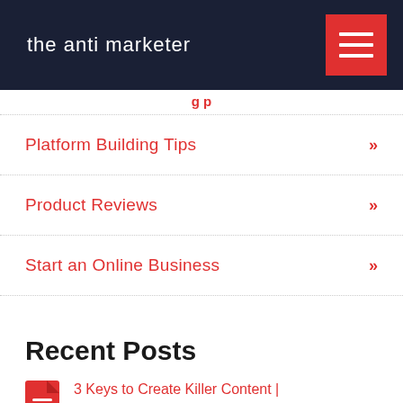the anti marketer
Platform Building Tips »
Product Reviews »
Start an Online Business »
Recent Posts
3 Keys to Create Killer Content | Platform Building Tip 5